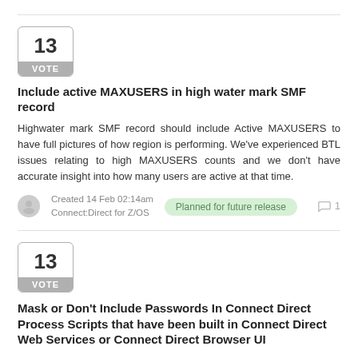[Figure (other): Vote box showing number 13 with VOTE label, rounded border]
Include active MAXUSERS in high water mark SMF record
Highwater mark SMF record should include Active MAXUSERS to have full pictures of how region is performing. We've experienced BTL issues relating to high MAXUSERS counts and we don't have accurate insight into how many users are active at that time.
Created 14 Feb 02:14am
Connect:Direct for Z/OS
Planned for future release
1
[Figure (other): Vote box showing number 13 with VOTE label, rounded border]
Mask or Don't Include Passwords In Connect Direct Process Scripts that have been built in Connect Direct Web Services or Connect Direct Browser UI